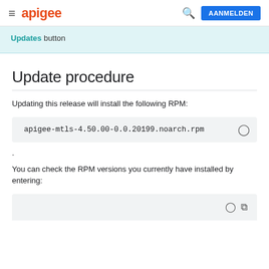≡ apigee  🔍  AANMELDEN
Updates button
Update procedure
Updating this release will install the following RPM:
apigee-mtls-4.50.00-0.0.20199.noarch.rpm
.
You can check the RPM versions you currently have installed by entering: